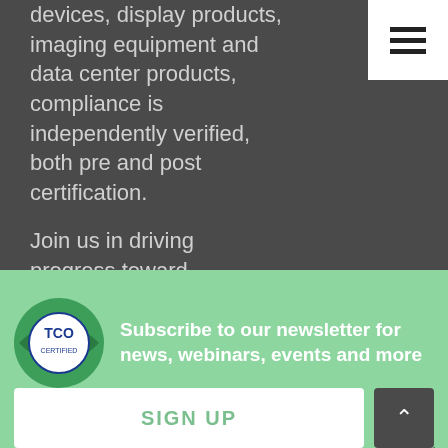devices, display products, imaging equipment and data center products, compliance is independently verified, both pre and post certification.

Join us in driving progress toward sustainable IT products.
Follow us
[Figure (logo): TCO Certified logo — green eye shape with white circular badge containing 'TCO CERTIFIED' text]
Subscribe to our newsletter for news, webinars, events and more
SIGN UP